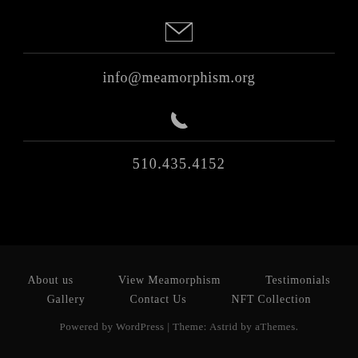[Figure (illustration): Envelope icon (mail symbol) in light gray on black background]
info@meamorphism.org
[Figure (illustration): Phone handset icon in light gray on black background]
510.435.4152
About us
View Meamorphism
Testimonials
Gallery
Contact Us
NFT Collection
Powered by WordPress | Theme: Astrid by aThemes.